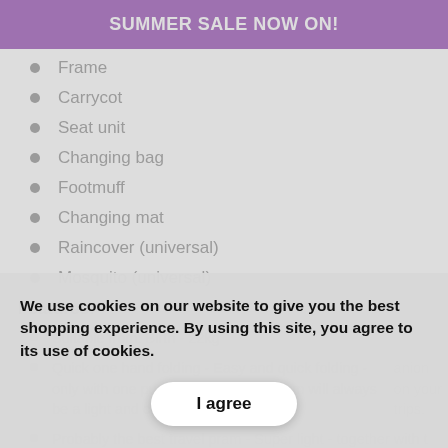SUMMER SALE NOW ON!
Frame
Carrycot
Seat unit
Changing bag
Footmuff
Changing mat
Raincover (universal)
Mosquito (universal)
Features:
Suitable from: Birth - 22kg
Quick one hand folding - Easy and quick folding - only with one push of the button! Tinum will always be a light and compact companion on your trips.
Probably the best travel pram - Super light - together with the seat unit weighing just 11.5 kg. The
We use cookies on our website to give you the best shopping experience. By using this site, you agree to its use of cookies.
I agree